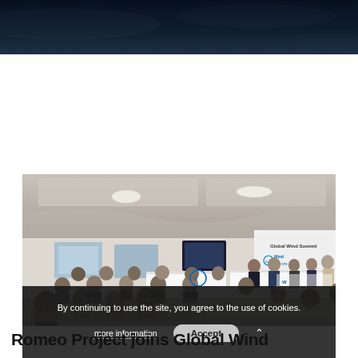[Figure (photo): Dark blue/navy textured banner at top of page, resembling a website header background with subtle wave or water texture.]
[Figure (photo): Conference room photo showing a panel discussion at the Global Wind Summit. Multiple attendees seated at tables in the foreground, with a panel of speakers at the front behind white podium tables. A banner reading 'Global Wind Summit' with WindEurope logos is visible in the background. A cookie consent overlay bar appears at the bottom of the image.]
By continuing to use the site, you agree to the use of cookies.
more information
Accept
Romeo Project joins Global Wind